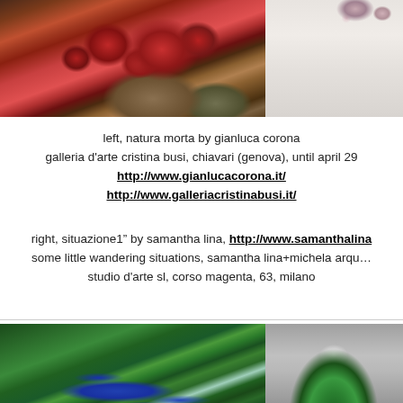[Figure (photo): Left: still life painting with red apples/fruit and vases on a draped surface (natura morta by Gianluca Corona). Right: partial view of artwork on white background.]
left, natura morta by gianluca corona
galleria d'arte cristina busi, chiavari (genova), until april 29
http://www.gianlucacorona.it/
http://www.galleriacristinabusi.it/
right, situazione1" by samantha lina, http://www.samanthalina...
some little wandering situations, samantha lina+michela arqua...
studio d'arte sl, corso magenta, 63, milano
[Figure (photo): Left: aerial photograph of a green landscape with blue river/waterway winding through dense forest or wetland. Right: ceramic or sculptural object resembling a green watermelon.]